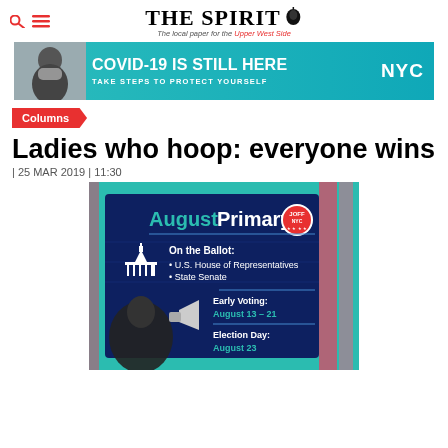THE SPIRIT – The local paper for the Upper West Side
[Figure (infographic): COVID-19 IS STILL HERE – TAKE STEPS TO PROTECT YOURSELF – NYC banner ad with a masked woman in background]
Columns
Ladies who hoop: everyone wins
| 25 MAR 2019 | 11:30
[Figure (infographic): August Primary – JoffNYC – On the Ballot: U.S. House of Representatives, State Senate. Early Voting: August 13–21. Election Day: August 23. Features a woman with a megaphone.]